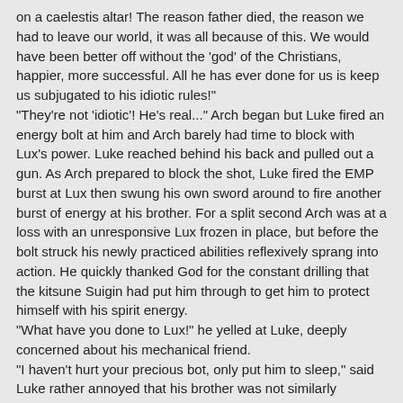on a caelestis altar! The reason father died, the reason we had to leave our world, it was all because of this. We would have been better off without the 'god' of the Christians, happier, more successful. All he has ever done for us is keep us subjugated to his idiotic rules!"
"They're not 'idiotic'! He's real..." Arch began but Luke fired an energy bolt at him and Arch barely had time to block with Lux's power. Luke reached behind his back and pulled out a gun. As Arch prepared to block the shot, Luke fired the EMP burst at Lux then swung his own sword around to fire another burst of energy at his brother. For a split second Arch was at a loss with an unresponsive Lux frozen in place, but before the bolt struck his newly practiced abilities reflexively sprang into action. He quickly thanked God for the constant drilling that the kitsune Suigin had put him through to get him to protect himself with his spirit energy.
"What have you done to Lux!" he yelled at Luke, deeply concerned about his mechanical friend.
"I haven't hurt your precious bot, only put him to sleep," said Luke rather annoyed that his brother was not similarly unconscious. His blow against Arch, unlike the one he had aimed at Matthias, had been only to stun, not kill. As angry as his twin made him sometimes with his naive do-goodism and blind obedience to that hideous religion, it was still more than he could do to actually kill his only real friend in life. He didn't expect Arch to have some new tricks to show for his absence though. "How is it that you